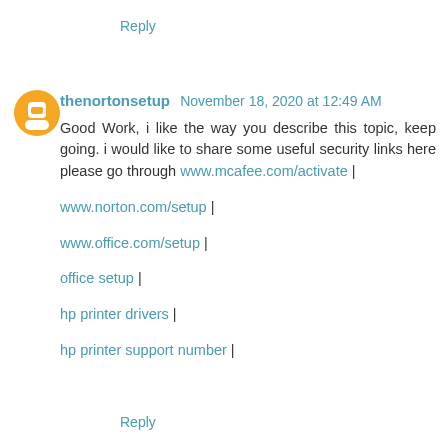Reply
thenortonsetup November 18, 2020 at 12:49 AM
Good Work, i like the way you describe this topic, keep going. i would like to share some useful security links here please go through www.mcafee.com/activate |
www.norton.com/setup |
www.office.com/setup |
office setup |
hp printer drivers |
hp printer support number |
Reply